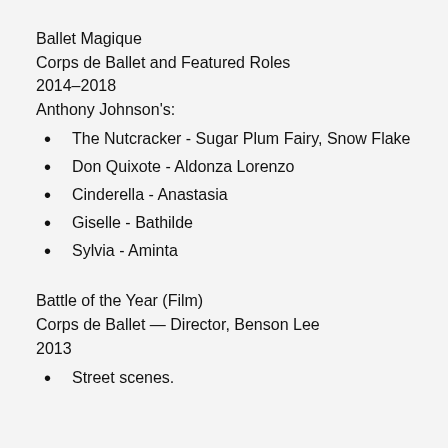Ballet Magique
Corps de Ballet and Featured Roles
2014–2018
Anthony Johnson's:
The Nutcracker - Sugar Plum Fairy, Snow Flake
Don Quixote - Aldonza Lorenzo
Cinderella - Anastasia
Giselle - Bathilde
Sylvia - Aminta
Battle of the Year (Film)
Corps de Ballet — Director, Benson Lee
2013
Street scenes.